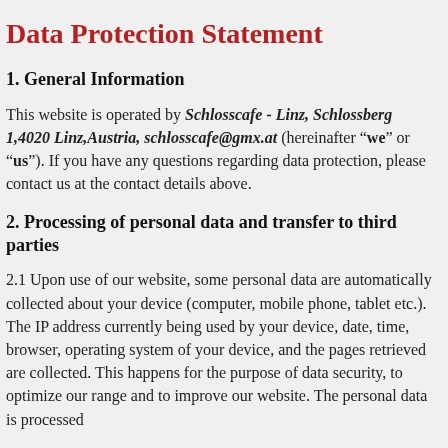Data Protection Statement
1. General Information
This website is operated by Schlosscafe - Linz, Schlossberg 1,4020 Linz,Austria, schlosscafe@gmx.at (hereinafter “we” or “us”). If you have any questions regarding data protection, please contact us at the contact details above.
2. Processing of personal data and transfer to third parties
2.1 Upon use of our website, some personal data are automatically collected about your device (computer, mobile phone, tablet etc.). The IP address currently being used by your device, date, time, browser, operating system of your device, and the pages retrieved are collected. This happens for the purpose of data security, to optimize our range and to improve our website. The personal data is processed